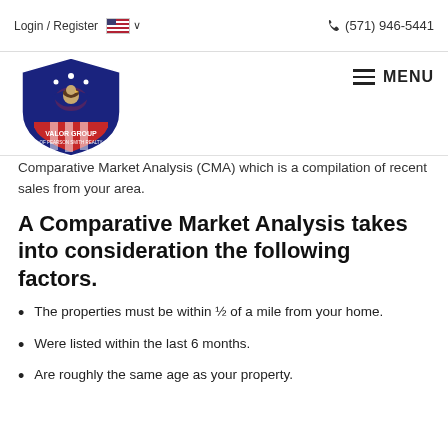Login / Register  🇺🇸 ∨   ☎ (571) 946-5441
[Figure (logo): Valor Group of Pearson Smith Realty shield logo with eagle]
Comparative Market Analysis (CMA) which is a compilation of recent sales from your area.
A Comparative Market Analysis takes into consideration the following factors.
The properties must be within ½ of a mile from your home.
Were listed within the last 6 months.
Are roughly the same age as your property.